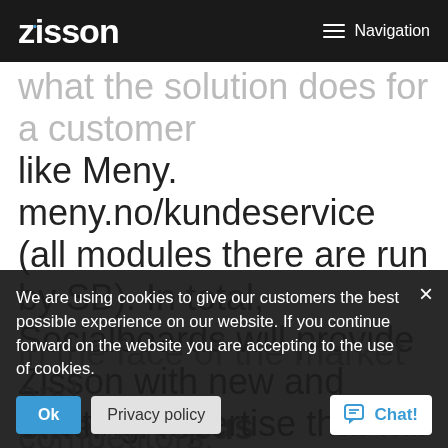zisson | Navigation
what the solution does for a customer like Meny. meny.no/kundeservice (all modules there are run by SB). In total, Socialboards will provide Zisson with new and exciting expertise that will make Zisson a more complete player in the face of the market and competitors.
We are using cookies to give our customers the best possible experience on our website. If you continue forward on the website you are accepting to the use of cookies.
Ok   Privacy policy
Chat!
omer in focus